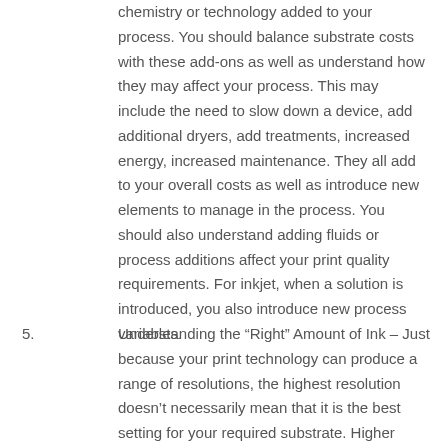chemistry or technology added to your process. You should balance substrate costs with these add-ons as well as understand how they may affect your process. This may include the need to slow down a device, add additional dryers, add treatments, increased energy, increased maintenance. They all add to your overall costs as well as introduce new elements to manage in the process. You should also understand adding fluids or process additions affect your print quality requirements. For inkjet, when a solution is introduced, you also introduce new process variables.
5. Understanding the “Right” Amount of Ink – Just because your print technology can produce a range of resolutions, the highest resolution doesn’t necessarily mean that it is the best setting for your required substrate. Higher resolutions with larger drop sizes can produce a layering affect which causes saturation and